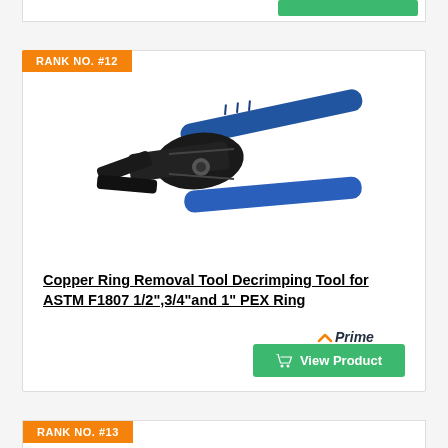RANK NO. #12
[Figure (photo): A crimping/decrimping tool with blue handles and black metal jaws, used for PEX ring removal]
Copper Ring Removal Tool Decrimping Tool for ASTM F1807 1/2",3/4"and 1" PEX Ring
[Figure (logo): Amazon Prime logo with orange checkmark and italic Prime text]
View Product
RANK NO. #13